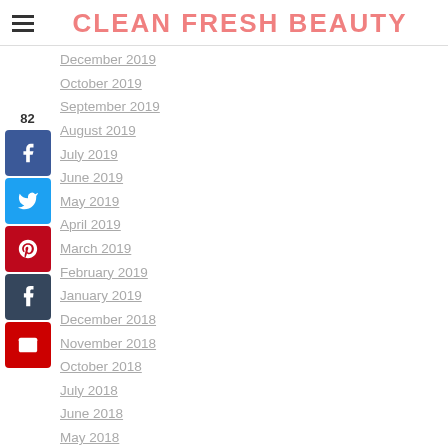CLEAN FRESH BEAUTY
December 2019
October 2019
September 2019
August 2019
July 2019
June 2019
May 2019
April 2019
March 2019
February 2019
January 2019
December 2018
November 2018
October 2018
July 2018
June 2018
May 2018
April 2018
March 2018
February 2018
January 2018
December 2017
November 2017